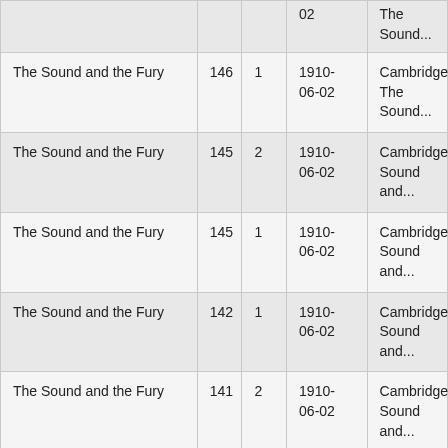| Title | Page | Section | Date | Location |
| --- | --- | --- | --- | --- |
| [partial] | [partial] | [partial] | 1910-06-02 | The Sound... |
| The Sound and the Fury | 146 | 1 | 1910-06-02 | Cambridge... The Sound... |
| The Sound and the Fury | 145 | 2 | 1910-06-02 | Cambridge... Sound and... |
| The Sound and the Fury | 145 | 1 | 1910-06-02 | Cambridge... Sound and... |
| The Sound and the Fury | 142 | 1 | 1910-06-02 | Cambridge... Sound and... |
| The Sound and the Fury | 141 | 2 | 1910-06-02 | Cambridge... Sound and... |
| The Sound and the Fury | 141 | 1 | 1910-06-02 | Cambridge... Sound and... |
| "Spotted Horses" | 174 | 3 | 1909-03-01 to 1909-04-30 | Mrs. Littlejo... (Location) |
| The Sound and the Fury | 139 | 1 | 1910-06-02 | Cambridge... Sound and... |
| [partial] | [partial] | [partial] | 1930-04-01 to | Jefferson... |